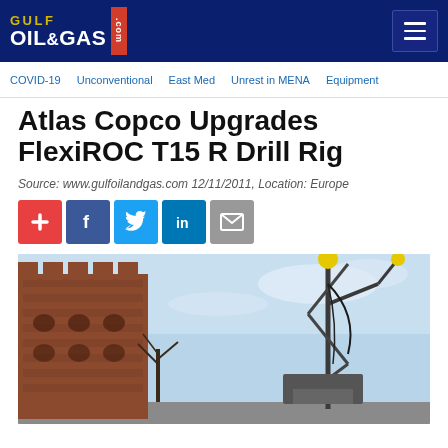Gulf Oil & Gas .com
COVID-19  Unconventional  East Med  Unrest in MENA  Equipment
Atlas Copco Upgrades FlexiROC T15 R Drill Rig
Source: www.gulfoilandgas.com 12/11/2011, Location: Europe
[Figure (other): Social sharing buttons: Add, Facebook, Twitter, LinkedIn, Email]
[Figure (photo): Photo of a FlexiROC T15 R drill rig operating near a historic brick tower building, with blue sky in the background]